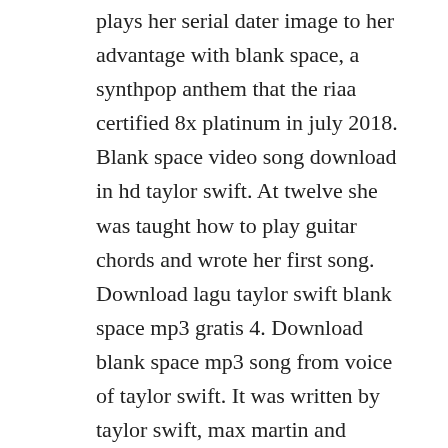plays her serial dater image to her advantage with blank space, a synthpop anthem that the riaa certified 8x platinum in july 2018. Blank space video song download in hd taylor swift. At twelve she was taught how to play guitar chords and wrote her first song. Download lagu taylor swift blank space mp3 gratis 4. Download blank space mp3 song from voice of taylor swift. It was written by taylor swift, max martin and shellback. Musiceel download i knew you were trouble taylor swift mp3 music. Blank space song blank space song download blank space. New blank